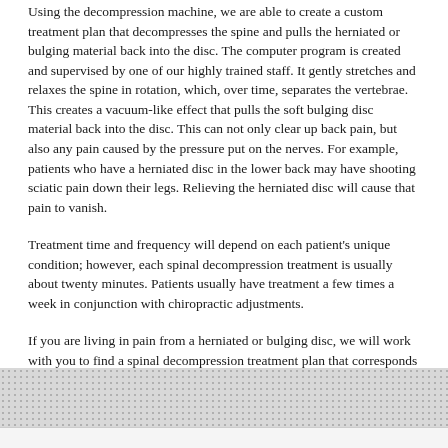Using the decompression machine, we are able to create a custom treatment plan that decompresses the spine and pulls the herniated or bulging material back into the disc. The computer program is created and supervised by one of our highly trained staff. It gently stretches and relaxes the spine in rotation, which, over time, separates the vertebrae. This creates a vacuum-like effect that pulls the soft bulging disc material back into the disc. This can not only clear up back pain, but also any pain caused by the pressure put on the nerves. For example, patients who have a herniated disc in the lower back may have shooting sciatic pain down their legs. Relieving the herniated disc will cause that pain to vanish.
Treatment time and frequency will depend on each patient's unique condition; however, each spinal decompression treatment is usually about twenty minutes. Patients usually have treatment a few times a week in conjunction with chiropractic adjustments.
If you are living in pain from a herniated or bulging disc, we will work with you to find a spinal decompression treatment plan that corresponds with your body.